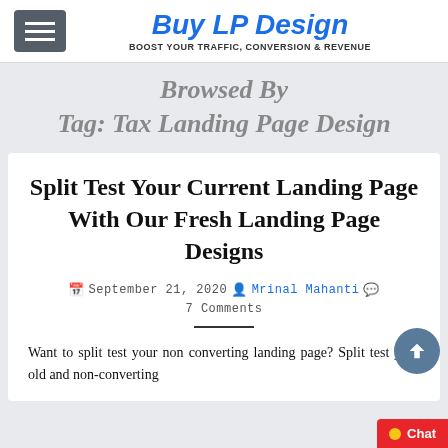Buy LP Design — BOOST YOUR TRAFFIC, CONVERSION & REVENUE
Browsed By Tag: Tax Landing Page Design
Split Test Your Current Landing Page With Our Fresh Landing Page Designs
September 21, 2020  Mrinal Mahanti  7 Comments
Want to split test your non converting landing page? Split test your old and non-converting